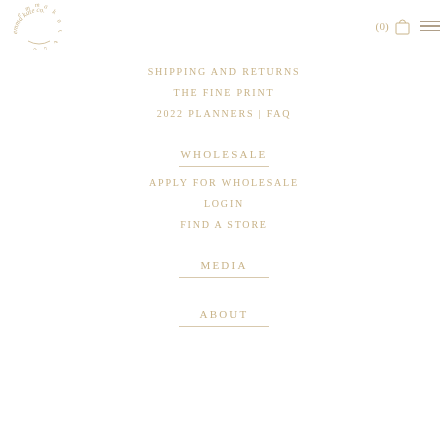emma kate co — logo, (0) cart, menu
SHIPPING AND RETURNS
THE FINE PRINT
2022 PLANNERS | FAQ
WHOLESALE
APPLY FOR WHOLESALE
LOGIN
FIND A STORE
MEDIA
ABOUT